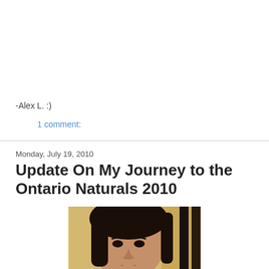-Alex L. :)
1 comment:
Monday, July 19, 2010
Update On My Journey to the Ontario Naturals 2010
[Figure (photo): Close-up photo of a person with dark hair looking at the camera, yellow background visible]